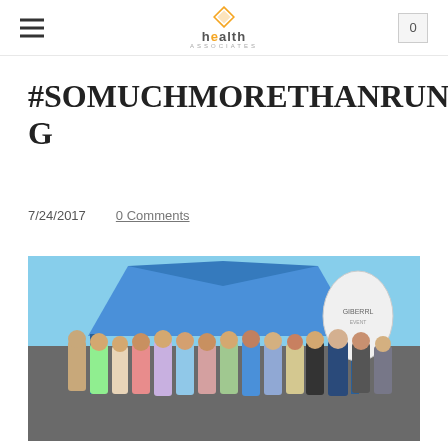health associates — navigation header with hamburger menu and cart button showing 0
#SOMUCHMORETHANRUNNING
7/24/2017   0 Comments
[Figure (photo): Group photo of approximately 20 people posing outdoors near a blue pop-up tent/gazebo at a running event. Participants are wearing athletic clothing and medals. A round promotional banner is visible in the background on the right. Trees and sky visible behind the group.]